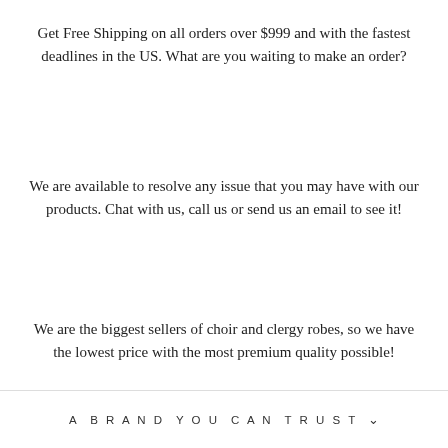Get Free Shipping on all orders over $999 and with the fastest deadlines in the US. What are you waiting to make an order?
We are available to resolve any issue that you may have with our products. Chat with us, call us or send us an email to see it!
We are the biggest sellers of choir and clergy robes, so we have the lowest price with the most premium quality possible!
A BRAND YOU CAN TRUST